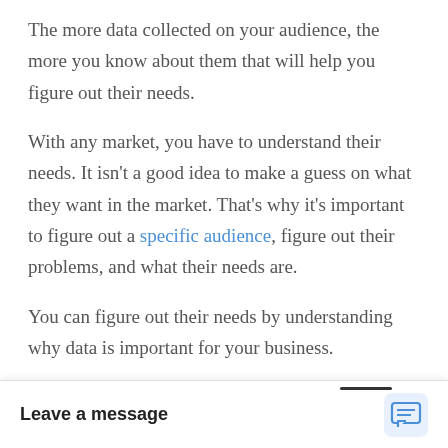The more data collected on your audience, the more you know about them that will help you figure out their needs.
With any market, you have to understand their needs. It isn't a good idea to make a guess on what they want in the market. That's why it's important to figure out a specific audience, figure out their problems, and what their needs are.
You can figure out their needs by understanding why data is important for your business.
The data should show demographics, age, location, interests... should help you...
Leave a message